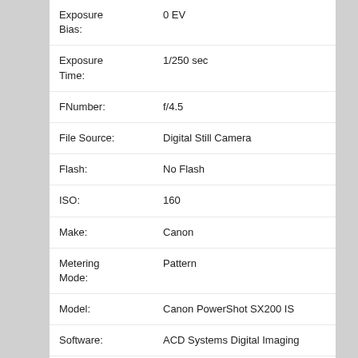| Field | Value |
| --- | --- |
| Exposure Bias: | 0 EV |
| Exposure Time: | 1/250 sec |
| FNumber: | f/4.5 |
| File Source: | Digital Still Camera |
| Flash: | No Flash |
| ISO: | 160 |
| Make: | Canon |
| Metering Mode: | Pattern |
| Model: | Canon PowerShot SX200 IS |
| Software: | ACD Systems Digital Imaging |
| URL: | https://leoforeia.gr/photos/displayimage.php?pid=12397 |
| Favorites: | Add to Favorites |
| Embed URL: | Κώδικας για προβολή στο forum (μικρογραφία)
[url=https://leoforeia.gr/photos/displayimage.php?pos= |